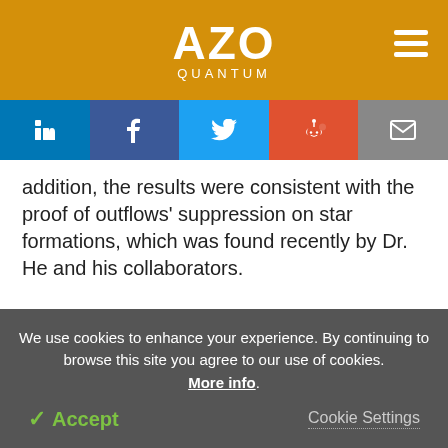AZO QUANTUM
[Figure (other): Social share buttons: LinkedIn, Facebook, Twitter, Reddit, Email]
addition, the results were consistent with the proof of outflows' suppression on star formations, which was found recently by Dr. He and his collaborators.
Journal Reference:
He, Z., et al. (2022) Evidence for quasar fast outflows
We use cookies to enhance your experience. By continuing to browse this site you agree to our use of cookies. More info.